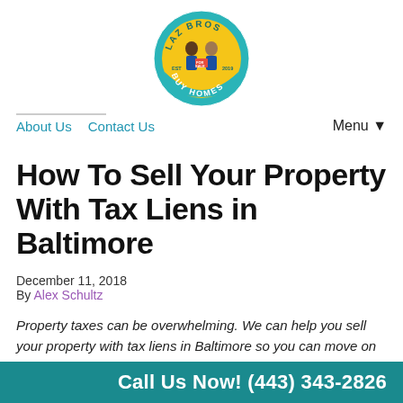[Figure (logo): Laz Bros Buy Homes circular logo with cartoon characters holding a For Sale sign, teal and yellow color scheme, 'EST 2019']
About Us   Contact Us   Menu ▼
How To Sell Your Property With Tax Liens in Baltimore
December 11, 2018
By Alex Schultz
Property taxes can be overwhelming. We can help you sell your property with tax liens in Baltimore so you can move on with your life! Learn more about how to do it in our latest
Call Us Now! (443) 343-2826